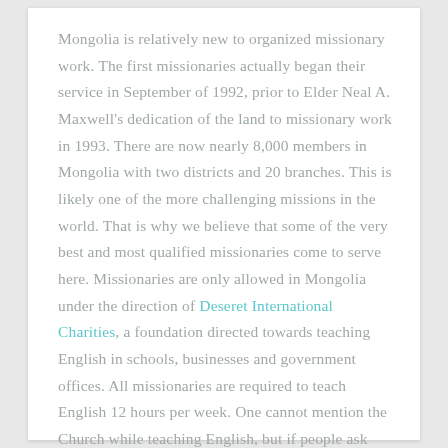Mongolia is relatively new to organized missionary work. The first missionaries actually began their service in September of 1992, prior to Elder Neal A. Maxwell's dedication of the land to missionary work in 1993. There are now nearly 8,000 members in Mongolia with two districts and 20 branches. This is likely one of the more challenging missions in the world. That is why we believe that some of the very best and most qualified missionaries come to serve here. Missionaries are only allowed in Mongolia under the direction of Deseret International Charities, a foundation directed towards teaching English in schools, businesses and government offices. All missionaries are required to teach English 12 hours per week. One cannot mention the Church while teaching English, but if people ask about it outside the classroom, the missionaries may teach them.